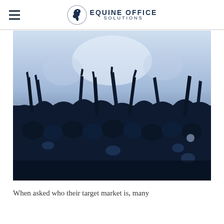EQUINE OFFICE SOLUTIONS
[Figure (photo): A crowd of people with hands raised in the air, photographed in a blue-tinted monochrome style, silhouettes against a bright background.]
When asked who their target market is, many